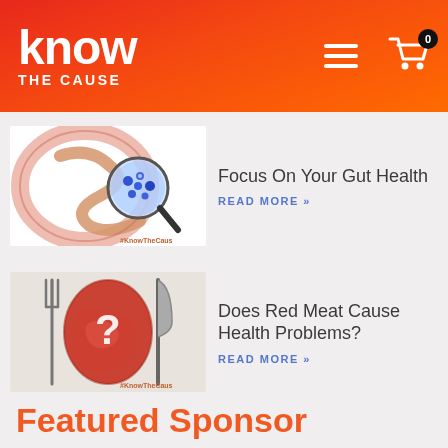know THE CAUSE
[Figure (illustration): Illustration of human intestines with a magnifying glass showing bacteria, hashtag #KnowTheCaus]
Focus On Your Gut Health
READ MORE »
[Figure (illustration): Illustration of a human head silhouette made of red meat with a question mark, flanked by a fork and knife, hashtag #KnowTheCaus]
Does Red Meat Cause Health Problems?
READ MORE »
Featured Sponsor